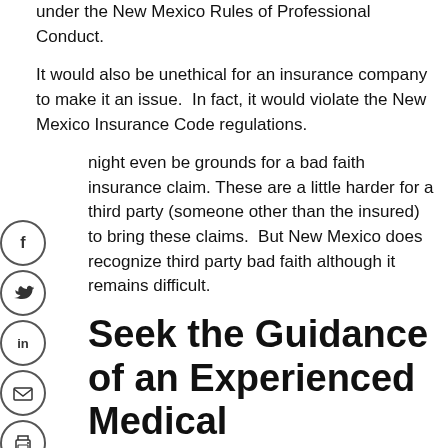under the New Mexico Rules of Professional Conduct.
It would also be unethical for an insurance company to make it an issue.  In fact, it would violate the New Mexico Insurance Code regulations.
might even be grounds for a bad faith insurance claim.  These are a little harder for a third party (someone other than the insured) to bring these claims.  But New Mexico does recognize third party bad faith although it remains difficult.
Seek the Guidance of an Experienced Medical Malpractice Attorney
Medical malpractice cases are always difficult.  Doctors, hospitals and other medical providers rarely admit mistakes without a fight.  They are counting on you giving up as the vast majority of patients and families do.